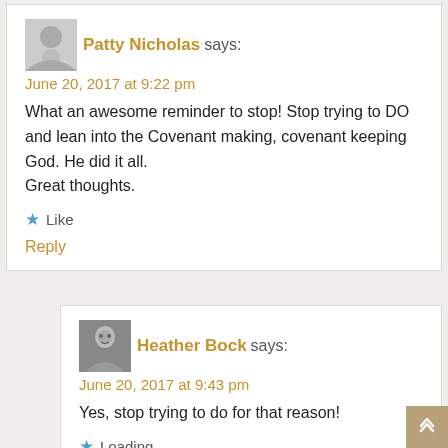Patty Nicholas says: June 20, 2017 at 9:22 pm
What an awesome reminder to stop! Stop trying to DO and lean into the Covenant making, covenant keeping God. He did it all.
Great thoughts.
★ Like
Reply
Heather Bock says: June 20, 2017 at 9:43 pm
Yes, stop trying to do for that reason!
★ Loading...
Reply